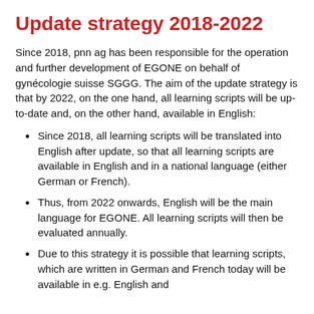Update strategy 2018-2022
Since 2018, pnn ag has been responsible for the operation and further development of EGONE on behalf of gynécologie suisse SGGG. The aim of the update strategy is that by 2022, on the one hand, all learning scripts will be up-to-date and, on the other hand, available in English:
Since 2018, all learning scripts will be translated into English after update, so that all learning scripts are available in English and in a national language (either German or French).
Thus, from 2022 onwards, English will be the main language for EGONE. All learning scripts will then be evaluated annually.
Due to this strategy it is possible that learning scripts, which are written in German and French today will be available in e.g. English and